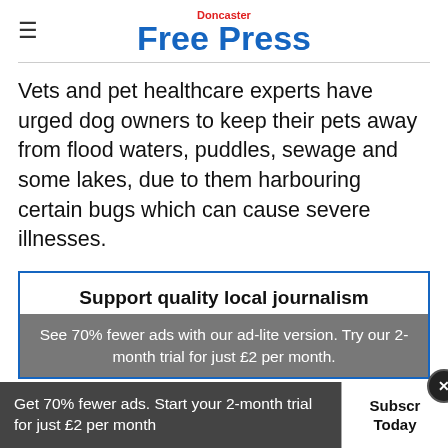Doncaster Free Press
Vets and pet healthcare experts have urged dog owners to keep their pets away from flood waters, puddles, sewage and some lakes, due to them harbouring certain bugs which can cause severe illnesses.
Support quality local journalism
See 70% fewer ads with our ad-lite version. Try our 2-month trial for just £2 per month.
Get 70% fewer ads. Start your 2-month trial for just £2 per month   Subscribe Today